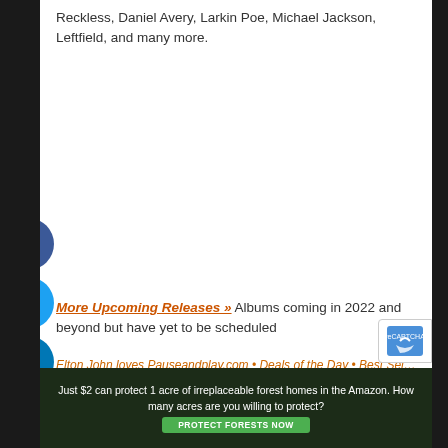Reckless, Daniel Avery, Larkin Poe, Michael Jackson, Leftfield, and many more.
[Figure (infographic): Vertical social sharing bar with circular buttons: Facebook (blue), Twitter (blue), LinkedIn (blue), Reddit (orange), Email (white/grey)]
More Upcoming Releases » Albums coming in 2022 and beyond but have yet to be scheduled
Elton John loves Pauseandplay.com • Deals of the Day • Best Sellers • Soundstage • MOMENTUM 2 Wireless Open-Ear Headphones IE 400...
[Figure (photo): Advertisement banner: Just $2 can protect 1 acre of irreplaceable forest homes in the Amazon. How many acres are you willing to protect? PROTECT FORESTS NOW]